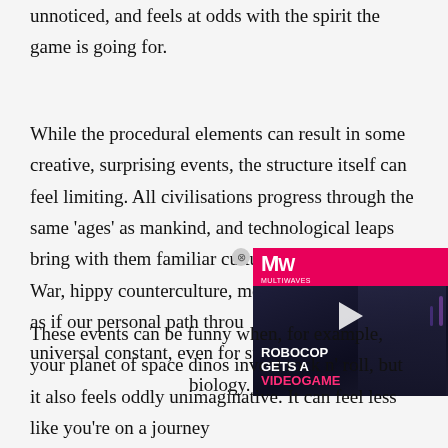unnoticed, and feels at odds with the spirit the game is going for.
While the procedural elements can result in some creative, surprising events, the structure itself can feel limiting. All civilisations progress through the same ‘ages’ as mankind, and technological leaps bring with them familiar cultural effects: a Cold War, hippy counterculture, memes, ‘fake news’. It’s as if our personal path through universal constant, even for spe biology.
[Figure (screenshot): Video advertisement overlay for 'Robocop Gets a Videogame' from MW (Multiwaves), showing a robotic figure against a dark background with a play button.]
These events can be funny when, for example, your planet of space dinos invent rock n’ roll, but it also feels oddly unimaginative. It can feel less like you’re on a journey